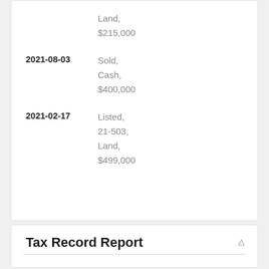Land, $215,000
2021-08-03 Sold, Cash, $400,000
2021-02-17 Listed, 21-503, Land, $499,000
Tax Record Report
Owner: Mackie Dorothy D, 1221 W Grove St